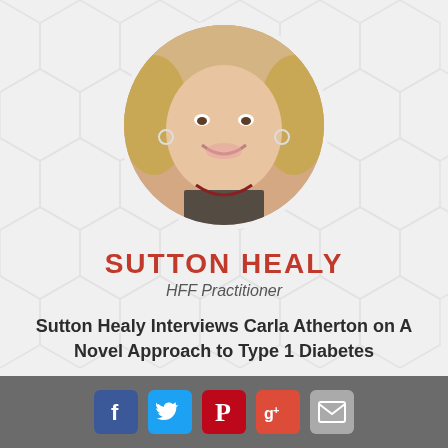[Figure (photo): Circular portrait photo of Sutton Healy, a woman with blonde hair, smiling, wearing hoop earrings and a beaded necklace]
SUTTON HEALY
HFF Practitioner
Sutton Healy Interviews Carla Atherton on A Novel Approach to Type 1 Diabetes
What You Will Learn +
[Figure (infographic): Social media share bar with Facebook, Twitter, Pinterest, Google+, and Email icons on a grey background]